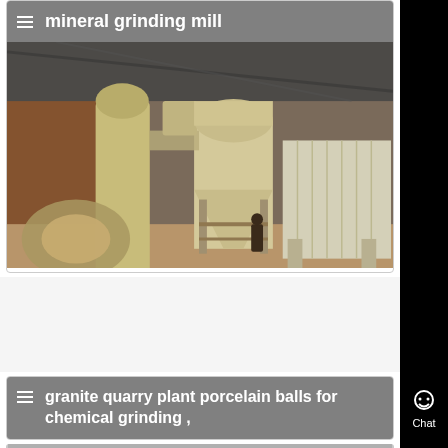mineral grinding mill
[Figure (photo): Industrial mineral grinding mill equipment inside a warehouse/factory building. Large beige/cream colored cylindrical and conical metal structures mounted on steel frames, with pipes and ductwork. A person visible near the base for scale. Brick wall visible in background, metal roof structure above.]
granite quarry plant porcelain balls for chemical grinding ,
[Figure (photo): Partially visible image at bottom of page, appears to be another industrial/quarry equipment photo in grayscale.]